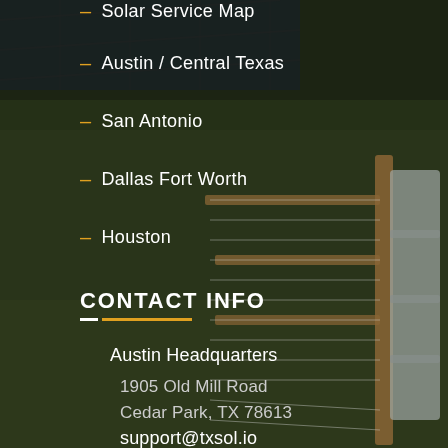[Figure (photo): Background photo of a rural Texas scene with a metal fence gate, grass field, and solar panels partially visible. Dark overlay applied over the image.]
– Solar Service Map
– Austin / Central Texas
– San Antonio
– Dallas Fort Worth
– Houston
CONTACT INFO
Austin Headquarters
1905 Old Mill Road
Cedar Park, TX 78613
support@txsol.io